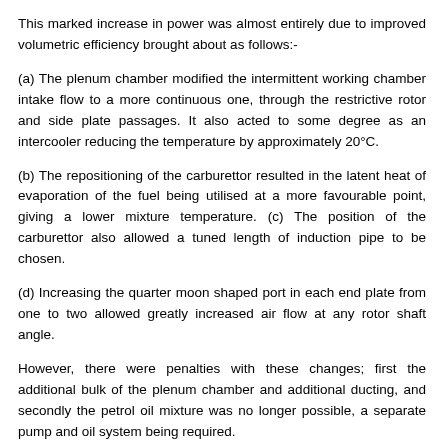This marked increase in power was almost entirely due to improved volumetric efficiency brought about as follows:-
(a) The plenum chamber modified the intermittent working chamber intake flow to a more continuous one, through the restrictive rotor and side plate passages. It also acted to some degree as an intercooler reducing the temperature by approximately 20°C.
(b) The repositioning of the carburettor resulted in the latent heat of evaporation of the fuel being utilised at a more favourable point, giving a lower mixture temperature. (c) The position of the carburettor also allowed a tuned length of induction pipe to be chosen.
(d) Increasing the quarter moon shaped port in each end plate from one to two allowed greatly increased air flow at any rotor shaft angle.
However, there were penalties with these changes; first the additional bulk of the plenum chamber and additional ducting, and secondly the petrol oil mixture was no longer possible, a separate pump and oil system being required.
It became apparent at a later date that a sheet metal spine frame which